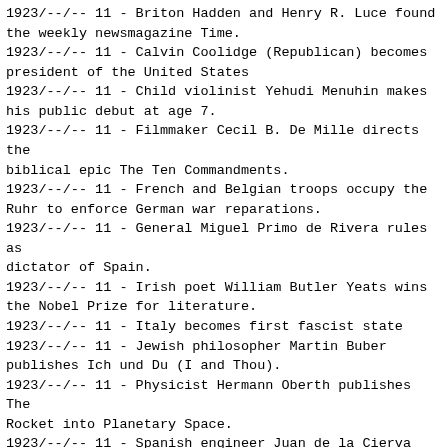1923/--/-- 11 - Briton Hadden and Henry R. Luce found the weekly newsmagazine Time.
1923/--/-- 11 - Calvin Coolidge (Republican) becomes president of the United States
1923/--/-- 11 - Child violinist Yehudi Menuhin makes his public debut at age 7.
1923/--/-- 11 - Filmmaker Cecil B. De Mille directs the biblical epic The Ten Commandments.
1923/--/-- 11 - French and Belgian troops occupy the Ruhr to enforce German war reparations.
1923/--/-- 11 - General Miguel Primo de Rivera rules as dictator of Spain.
1923/--/-- 11 - Irish poet William Butler Yeats wins the Nobel Prize for literature.
1923/--/-- 11 - Italy becomes first fascist state
1923/--/-- 11 - Jewish philosopher Martin Buber publishes Ich und Du (I and Thou).
1923/--/-- 11 - Physicist Hermann Oberth publishes The Rocket into Planetary Space.
1923/--/-- 11 - Spanish engineer Juan de la Cierva invents the autogiro.
1923/--/-- 11 - Stanley Baldwin becomes Conservative prime minister of Britain for the first time.
1923/--/-- 11 - The Treaty of Lausanne establishes the boundaries of modern Turkey.
1923/--/-- 11 - Tokyo and Yokohama are destroyed by an earthquake; 100,000 are killed.
1923/--/-- 11 - Turkey is declared a republic; Ataturk Kemal becomes the first president.
1923/--/-- 11 - Vladimir Zworykin patents the iconoscope, the first television transmission tube.